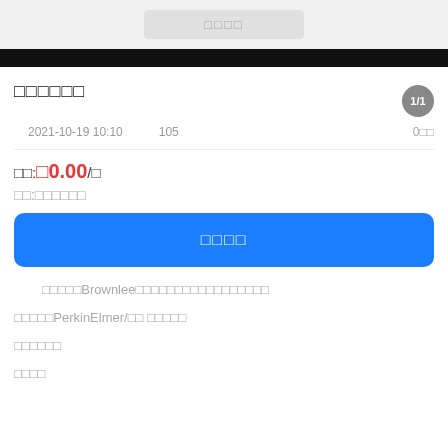□□□□
□□□□□□
2021-10-19 10:10   105   0□□
□□:□0.00/□
□□:□□□□□□
□□□□
□□□□□Brownlee□□□□□□□□□□□□□□□□□
□□□□□PerkinElmer/□□ □□□□□
□□□□□□
□□□□